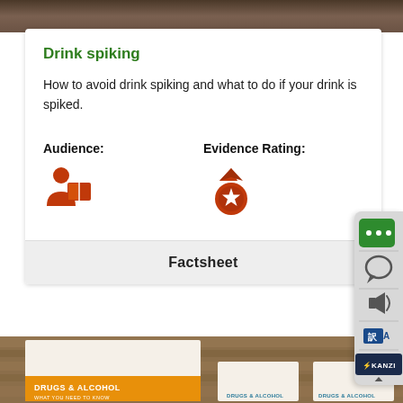[Figure (photo): Top banner image - dark brown texture or surface photo]
Drink spiking
How to avoid drink spiking and what to do if your drink is spiked.
Audience:
[Figure (illustration): Orange/red icon of a person with a book - audience icon]
Evidence Rating:
[Figure (illustration): Orange/red medal icon with star - evidence rating icon]
Factsheet
[Figure (screenshot): Bottom section showing Drugs & Alcohol booklet covers on a wooden table background]